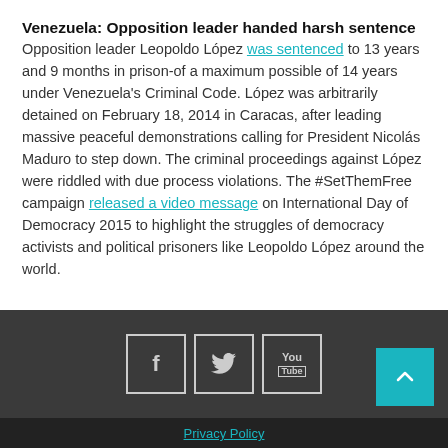Venezuela: Opposition leader handed harsh sentence
Opposition leader Leopoldo López was sentenced to 13 years and 9 months in prison-of a maximum possible of 14 years under Venezuela's Criminal Code. López was arbitrarily detained on February 18, 2014 in Caracas, after leading massive peaceful demonstrations calling for President Nicolás Maduro to step down. The criminal proceedings against López were riddled with due process violations. The #SetThemFree campaign released a video message on International Day of Democracy 2015 to highlight the struggles of democracy activists and political prisoners like Leopoldo López around the world.
Privacy Policy